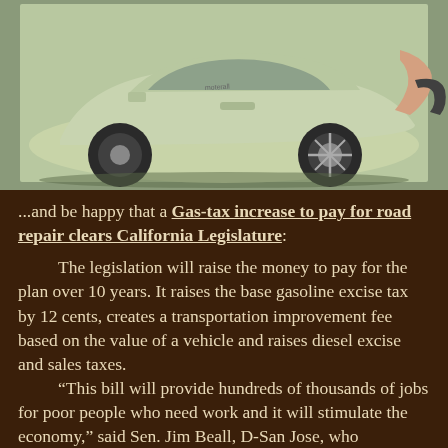[Figure (photo): Photo of a light green/cream colored hybrid or electric car being plugged in, showing the side of the vehicle with a hand reaching in from the right to plug in a charging cable. The car appears to be a Toyota Prius or similar vehicle.]
...and be happy that a Gas-tax increase to pay for road repair clears California Legislature:
The legislation will raise the money to pay for the plan over 10 years. It raises the base gasoline excise tax by 12 cents, creates a transportation improvement fee based on the value of a vehicle and raises diesel excise and sales taxes.
“This bill will provide hundreds of thousands of jobs for poor people who need work and it will stimulate the economy,” said Sen. Jim Beall, D-San Jose, who introduced Senate Bill 1. “For me, this is a wise plan that’s a modest plan.”
Republican lawmakers criticized the deal for putting a burden on ordinary Californians to pick